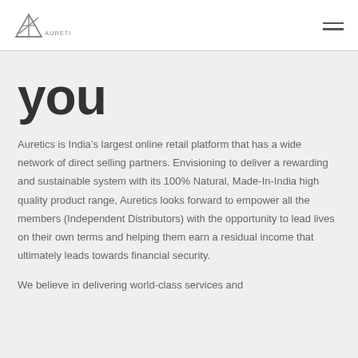AURETICS
you
Auretics is India’s largest online retail platform that has a wide network of direct selling partners. Envisioning to deliver a rewarding and sustainable system with its 100% Natural, Made-In-India high quality product range, Auretics looks forward to empower all the members (Independent Distributors) with the opportunity to lead lives on their own terms and helping them earn a residual income that ultimately leads towards financial security.
We believe in delivering world-class services and